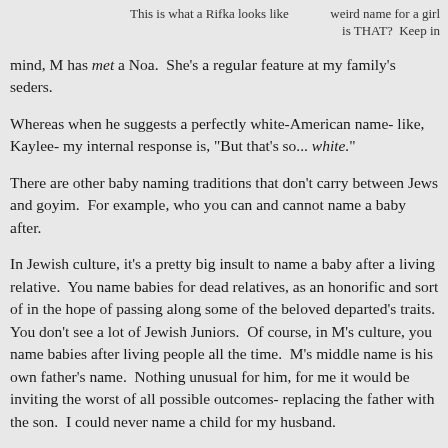This is what a Rifka looks like     weird name for a girl is THAT?  Keep in mind, M has met a Noa.  She's a regular feature at my family's seders.
Whereas when he suggests a perfectly white-American name- like, Kaylee- my internal response is, "But that's so... white."
There are other baby naming traditions that don't carry between Jews and goyim.  For example, who you can and cannot name a baby after.
In Jewish culture, it's a pretty big insult to name a baby after a living relative.  You name babies for dead relatives, as an honorific and sort of in the hope of passing along some of the beloved departed's traits.  You don't see a lot of Jewish Juniors.  Of course, in M's culture, you name babies after living people all the time.  M's middle name is his own father's name.  Nothing unusual for him, for me it would be inviting the worst of all possible outcomes- replacing the father with the son.  I could never name a child for my husband.